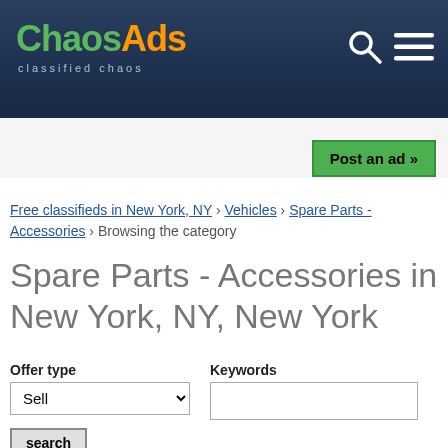[Figure (logo): ChaosAds logo with 'classified chaos' tagline on dark blue header background]
Post an ad »
Free classifieds in New York, NY › Vehicles › Spare Parts - Accessories › Browsing the category
Spare Parts - Accessories in New York, NY, New York
Offer type
Keywords
search